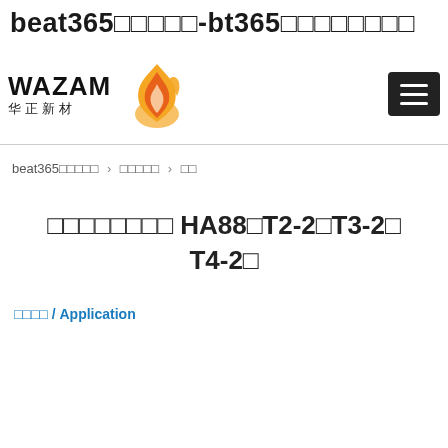beat365aaaaa-bt365aaaaaaaa
[Figure (logo): WAZAM 华正新材 logo with orange flame icon, and hamburger menu button on the right]
beat365aaaaa > aaaa > aa
aaaaaaaa HA88aT2-2aT3-2a T4-2a
aaaa / Application